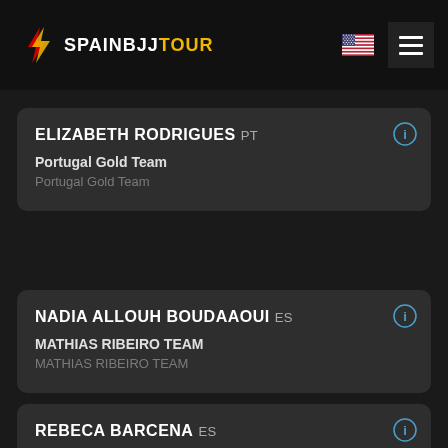SPAINBJJTOUR
ELIZABETH RODRIGUES PT
Portugal Gold Team
Portugal Gold Team
NADIA ALLOUH BOUDAAOUI ES
MATHIAS RIBEIRO TEAM
MATHIAS RIBEIRO TEAM
REBECA BARCENA ES